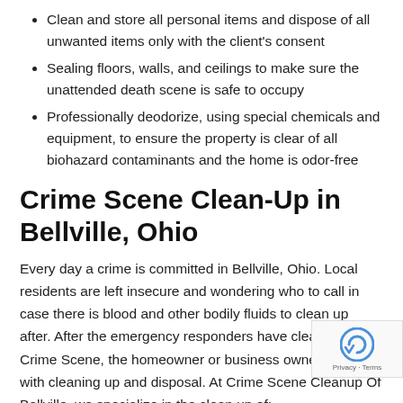Clean and store all personal items and dispose of all unwanted items only with the client's consent
Sealing floors, walls, and ceilings to make sure the unattended death scene is safe to occupy
Professionally deodorize, using special chemicals and equipment, to ensure the property is clear of all biohazard contaminants and the home is odor-free
Crime Scene Clean-Up in Bellville, Ohio
Every day a crime is committed in Bellville, Ohio. Local residents are left insecure and wondering who to call in case there is blood and other bodily fluids to clean up after. After the emergency responders have cleared the Crime Scene, the homeowner or business owner is faced with cleaning up and disposal. At Crime Scene Cleanup Of Bellville, we specialize in the clean up of:
Crime Scene...